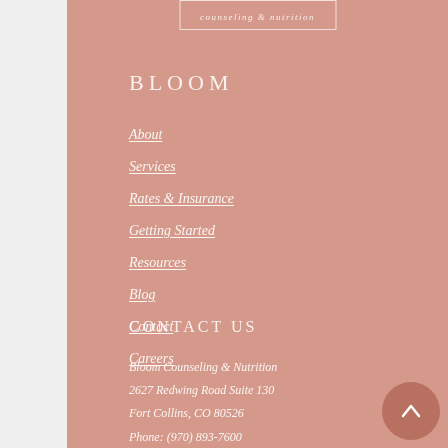[Figure (logo): Bloom counseling & nutrition logo box with text 'counseling & nutrition' in a rectangular border]
BLOOM
About
Services
Rates & Insurance
Getting Started
Resources
Blog
Contact
Careers
CONTACT US
Bloom Counseling & Nutrition
2627 Redwing Road Suite 130
Fort Collins, CO 80526
Phone: (970) 893-7600